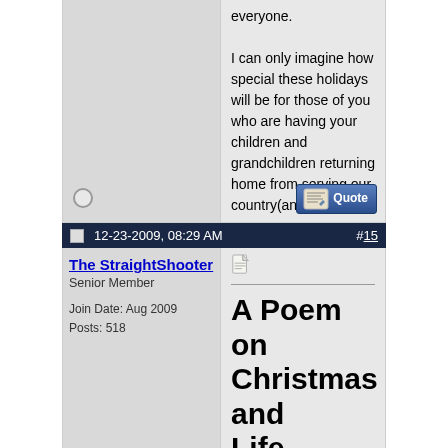everyone.

I can only imagine how special these holidays will be for those of you who are having your children and grandchildren returning home from serving our country(and the world).
12-23-2009, 08:29 AM
#15
The StraightShooter
Senior Member
Join Date: Aug 2009
Posts: 518
A Poem on Christmas and Life
Stopping by Woods on a Snowy Evening
by Robert Frost

Whose woods these are I think I know.
His house is in the village though;
He will not see me stopping here...